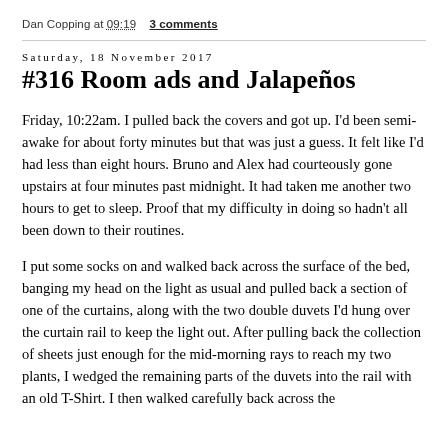Dan Copping at 09:19    3 comments
Saturday, 18 November 2017
#316 Room ads and Jalapeños
Friday, 10:22am. I pulled back the covers and got up. I'd been semi-awake for about forty minutes but that was just a guess. It felt like I'd had less than eight hours. Bruno and Alex had courteously gone upstairs at four minutes past midnight. It had taken me another two hours to get to sleep. Proof that my difficulty in doing so hadn't all been down to their routines.
I put some socks on and walked back across the surface of the bed, banging my head on the light as usual and pulled back a section of one of the curtains, along with the two double duvets I'd hung over the curtain rail to keep the light out. After pulling back the collection of sheets just enough for the mid-morning rays to reach my two plants, I wedged the remaining parts of the duvets into the rail with an old T-Shirt. I then walked carefully back across the